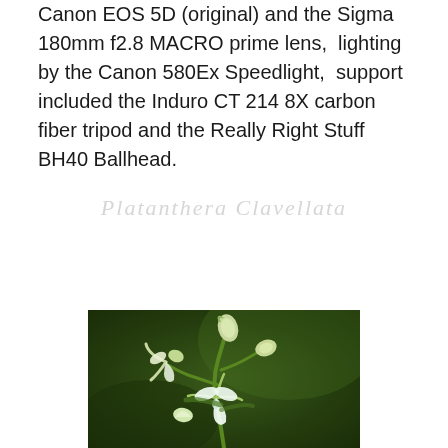Canon EOS 5D (original) and the Sigma 180mm f2.8 MACRO prime lens,  lighting by the Canon 580Ex Speedlight,  support included the Induro CT 214 8X carbon fiber tripod and the Really Right Stuff BH40 Ballhead.
Platanthera clavellata
[Figure (photo): Close-up macro photograph of Platanthera clavellata (small green wood orchid) flowers against a dark green blurred background. The white and green flowers are shown in detail with curling petals and buds.]